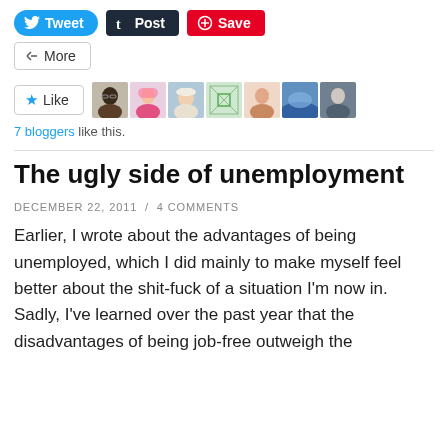[Figure (screenshot): Social sharing buttons: Tweet (blue), Post (dark), Save (red), More (outlined)]
[Figure (screenshot): Like button with star icon, followed by 7 blogger avatar thumbnails]
7 bloggers like this.
The ugly side of unemployment
DECEMBER 22, 2011 / 4 COMMENTS
Earlier, I wrote about the advantages of being unemployed, which I did mainly to make myself feel better about the shit-fuck of a situation I’m now in. Sadly, I’ve learned over the past year that the disadvantages of being job-free outweigh the